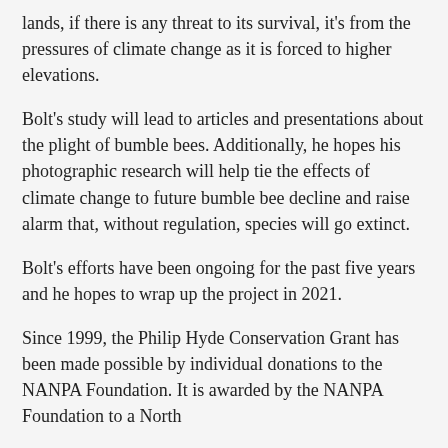lands, if there is any threat to its survival, it's from the pressures of climate change as it is forced to higher elevations.
Bolt's study will lead to articles and presentations about the plight of bumble bees. Additionally, he hopes his photographic research will help tie the effects of climate change to future bumble bee decline and raise alarm that, without regulation, species will go extinct.
Bolt's efforts have been ongoing for the past five years and he hopes to wrap up the project in 2021.
Since 1999, the Philip Hyde Conservation Grant has been made possible by individual donations to the NANPA Foundation. It is awarded by the NANPA Foundation to a North